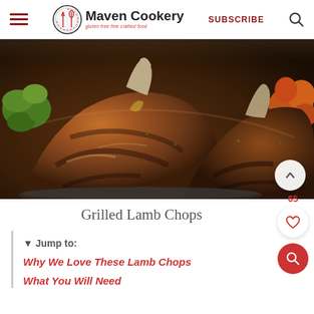Maven Cookery — gluten free fine crafted food | SUBSCRIBE
[Figure (photo): Close-up photo of two grilled lamb chops on a dark plate, showing seared brown crust with herbs and spices, green vegetables in background left, orange/red vegetables in background right]
Grilled Lamb Chops
▼ Jump to:
Why We Love These Lamb Chops
What You Will Need